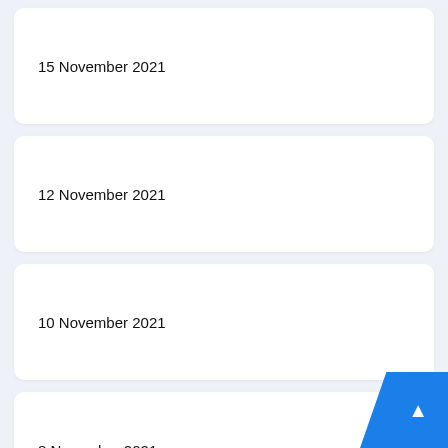15 November 2021
12 November 2021
10 November 2021
8 November 2021
8 November 2021